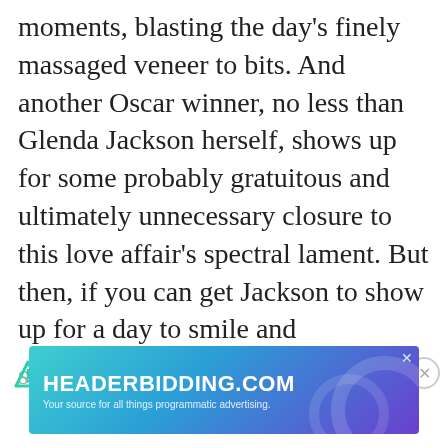moments, blasting the day's finely massaged veneer to bits. And another Oscar winner, no less than Glenda Jackson herself, shows up for some probably gratuitous and ultimately unnecessary closure to this love affair's spectral lament. But then, if you can get Jackson to show up for a day to smile and
sneer for your film in equal
[Figure (other): HEADERBIDDING.COM advertisement banner — 'Your source for all things programmatic advertising.' with teal/purple gradient background and decorative circular elements. An X close button in top-right corner.]